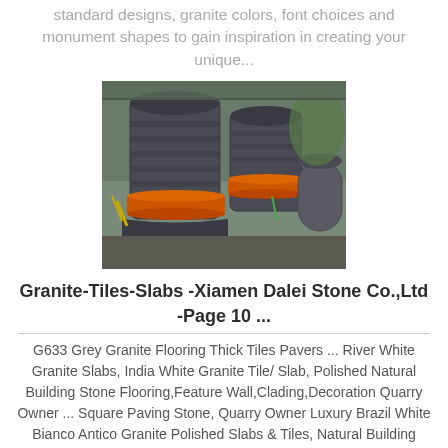standard designs, granite colors, font choices and monument shapes to gain inspiration in creating your unique...
[Figure (photo): Two large industrial cone crusher machines with orange/red belt rings, photographed in an industrial setting]
Granite-Tiles-Slabs -Xiamen Dalei Stone Co.,Ltd -Page 10 ...
G633 Grey Granite Flooring Thick Tiles Pavers ... River White Granite Slabs, India White Granite Tile/ Slab, Polished Natural Building Stone Flooring,Feature Wall,Clading,Decoration Quarry Owner ... Square Paving Stone, Quarry Owner Luxury Brazil White Bianco Antico Granite Polished Slabs & Tiles, Natural Building Stone with